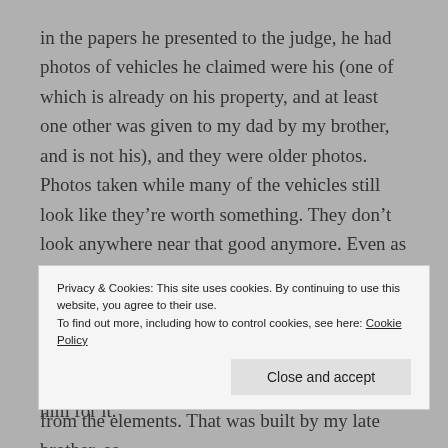in the papers he presented to the judge, he had photos of vehicles he claimed were his (one of which is already on his property, and at least one other was given to my dad by my brother, and is not his), and they were older photos. Photos taken while many of the vehicles still look like they're worth something. They don't look anywhere near that good anymore. Even as scrap value, the longer they sit there, rusting away, the less they're worth. In his picture of the post pounder, you can't even tell what it is, because it was covered in junk. I'm the one who cleaned it up and have been trying to protect it from the elements. That was built by my late brother, so
Privacy & Cookies: This site uses cookies. By continuing to use this website, you agree to their use.
To find out more, including how to control cookies, see here: Cookie Policy
Close and accept
here, and how much he can say I need to pay him for it.